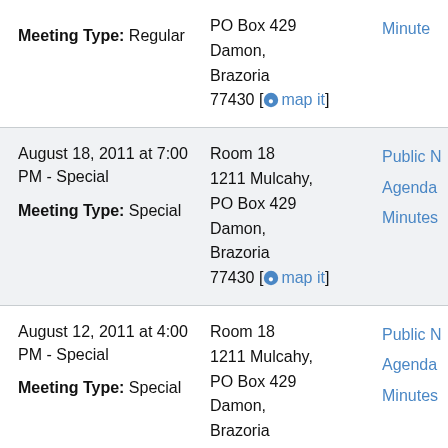Meeting Type: Regular
Address: Room 18, 1211 Mulcahy, PO Box 429, Damon, Brazoria 77430 [map it]
Links: Minutes
August 18, 2011 at 7:00 PM - Special
Meeting Type: Special
Address: Room 18, 1211 Mulcahy, PO Box 429, Damon, Brazoria 77430 [map it]
Links: Public Notice, Agenda, Minutes
August 12, 2011 at 4:00 PM - Special
Meeting Type: Special
Address: Room 18, 1211 Mulcahy, PO Box 429, Damon, Brazoria 77430 [map it]
Links: Public Notice, Agenda, Minutes